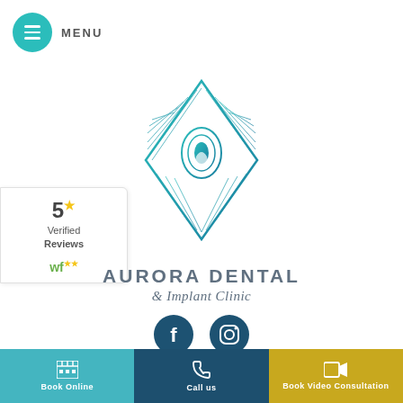[Figure (logo): Teal circular menu button with three horizontal white lines, followed by MENU text in grey]
MENU
[Figure (logo): Aurora Dental & Implant Clinic peacock feather diamond-shaped logo in teal/turquoise gradient]
AURORA DENTAL & Implant Clinic
[Figure (infographic): 5 star Verified Reviews badge with wf logo]
[Figure (logo): Facebook and Instagram social media icons in dark teal circles]
SELECT LOCATION
Book Online
Call us
Book Video Consultation